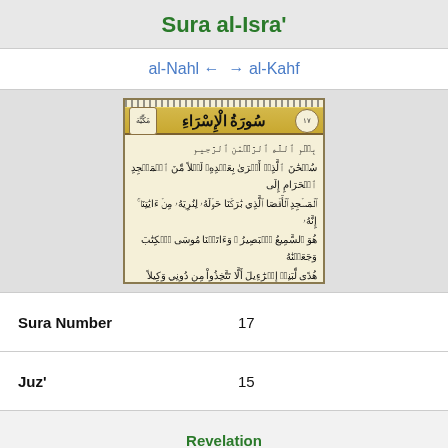Sura al-Isra'
al-Nahl ←  → al-Kahf
[Figure (photo): Page from the Quran showing the opening of Sura al-Isra (Surah 17) with ornate header and Arabic calligraphy text on a cream/yellowish background]
| Sura Number | 17 |
| Juz' | 15 |
| Revelation |  |